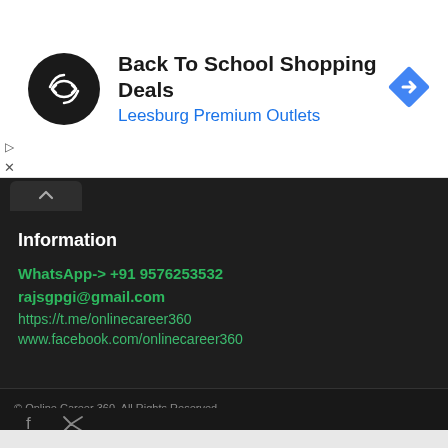[Figure (screenshot): Advertisement banner with circular black logo with double infinity arrows icon, text 'Back To School Shopping Deals' and 'Leesburg Premium Outlets' in blue, and a blue diamond direction arrow icon on the right]
Information
WhatsApp-> +91 9576253532
rajsgpgi@gmail.com
https://t.me/onlinecareer360
www.facebook.com/onlinecareer360
© Online Career 360. All Rights Reserved.